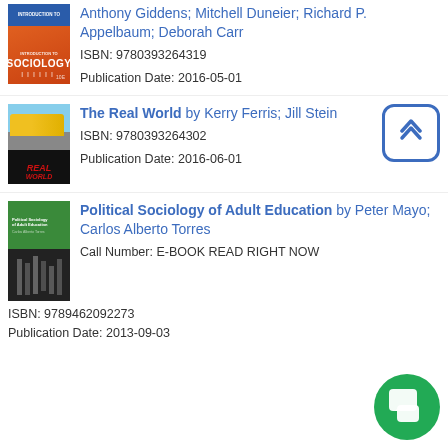[Figure (photo): Book cover: Introduction to Sociology, 10E, orange/blue cover]
Anthony Giddens; Mitchell Duneier; Richard P. Appelbaum; Deborah Carr
ISBN: 9780393264319
Publication Date: 2016-05-01
[Figure (photo): Book cover: The Real World, dark cover with city bus scene]
The Real World by Kerry Ferris; Jill Stein
ISBN: 9780393264302
Publication Date: 2016-06-01
[Figure (photo): Book cover: Political Sociology of Adult Education, green and dark cover]
Political Sociology of Adult Education by Peter Mayo; Carlos Alberto Torres
Call Number: E-BOOK READ RIGHT NOW
ISBN: 9789462092273
Publication Date: 2013-09-03